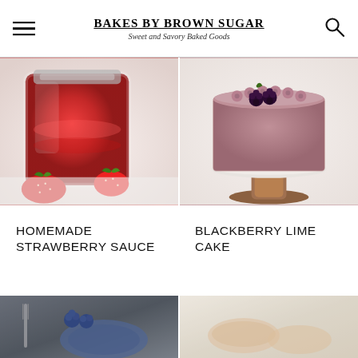BAKES BY BROWN SUGAR — Sweet and Savory Baked Goods
[Figure (photo): A glass mason jar filled with bright red homemade strawberry sauce, surrounded by fresh strawberries on a white surface]
[Figure (photo): A round blackberry lime cake with dusty rose/mauve frosting on a white cake stand with a wooden base, topped with blackberries and piped frosting rosettes]
HOMEMADE STRAWBERRY SAUCE
BLACKBERRY LIME CAKE
[Figure (photo): Partial view of a food photo with blueberries, a fork, and a blue patterned plate on a dark surface]
[Figure (photo): Partial view of a baked goods photo with light/cream colored background]